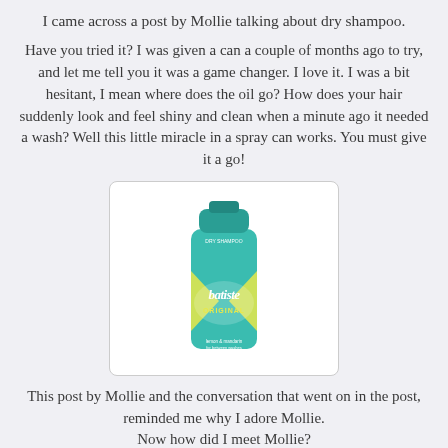I came across a post by Mollie talking about dry shampoo.
Have you tried it? I was given a can a couple of months ago to try, and let me tell you it was a game changer. I love it. I was a bit hesitant, I mean where does the oil go? How does your hair suddenly look and feel shiny and clean when a minute ago it needed a wash? Well this little miracle in a spray can works. You must give it a go!
[Figure (photo): A can of Batiste dry shampoo with teal/green color and yellow label accents]
This post by Mollie and the conversation that went on in the post, reminded me why I adore Mollie. Now how did I meet Mollie?